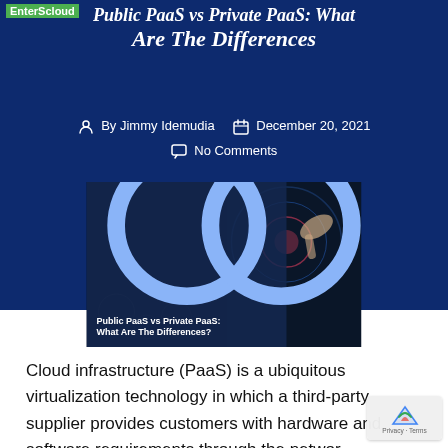EnterScloud
Public PaaS vs Private PaaS: What Are The Differences
By Jimmy Idemudia   December 20, 2021   No Comments
[Figure (photo): Dark technology background image with a hand touching a digital interface. Overlay shows the article title 'Public PaaS vs Private PaaS: What Are The Differences?' with a logo icon.]
Cloud infrastructure (PaaS) is a ubiquitous virtualization technology in which a third-party supplier provides customers with hardware and software requirements through the network. Several tools are typically required for developing...